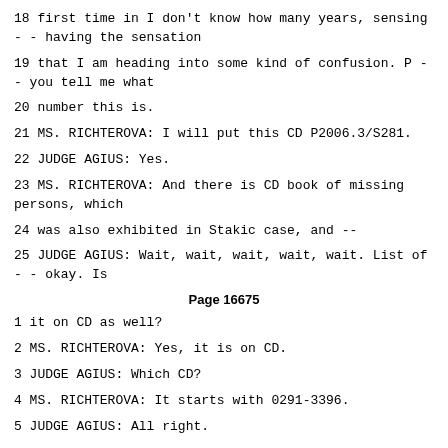18 first time in I don't know how many years, sensing - - having the sensation
19 that I am heading into some kind of confusion. P -- you tell me what
20 number this is.
21 MS. RICHTEROVA: I will put this CD P2006.3/S281.
22 JUDGE AGIUS: Yes.
23 MS. RICHTEROVA: And there is CD book of missing persons, which
24 was also exhibited in Stakic case, and --
25 JUDGE AGIUS: Wait, wait, wait, wait, wait. List of - - okay. Is
Page 16675
1 it on CD as well?
2 MS. RICHTEROVA: Yes, it is on CD.
3 JUDGE AGIUS: Which CD?
4 MS. RICHTEROVA: It starts with 0291-3396.
5 JUDGE AGIUS: All right.